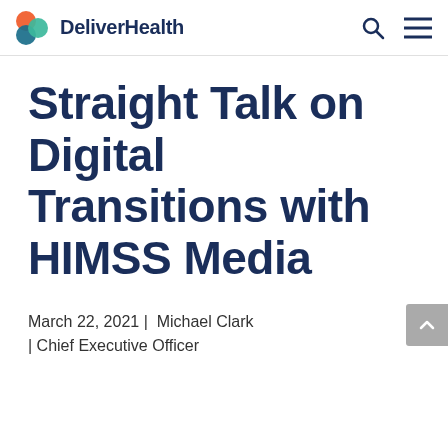DeliverHealth
Straight Talk on Digital Transitions with HIMSS Media
March 22, 2021 |  Michael Clark  | Chief Executive Officer